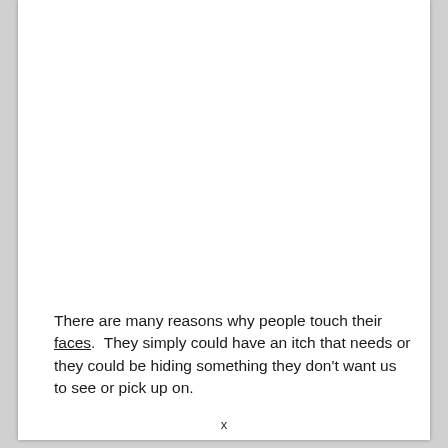There are many reasons why people touch their faces.  They simply could have an itch that needs or they could be hiding something they don't want us to see or pick up on.
x